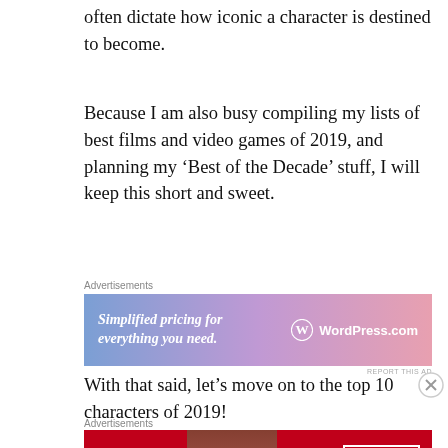often dictate how iconic a character is destined to become.
Because I am also busy compiling my lists of best films and video games of 2019, and planning my ‘Best of the Decade’ stuff, I will keep this short and sweet.
[Figure (other): WordPress.com advertisement banner: gradient purple-pink background with text 'Simplified pricing for everything you need.' and WordPress logo and 'WordPress.com']
With that said, let’s move on to the top 10 characters of 2019!
[Figure (other): Macy's advertisement banner: red background with 'KISS BORING LIPS GOODBYE', 'SHOP NOW' button and Macy's star logo, model photo with red lips]